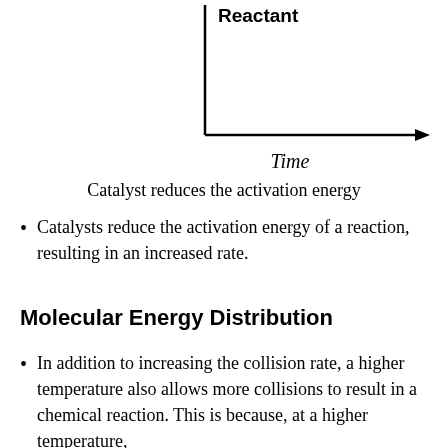[Figure (other): Partial diagram showing a vertical axis with 'Reactant' label at top, and a horizontal axis with an arrow pointing right, labeled 'Time' in italic below. This appears to be the bottom portion of an energy vs. time reaction diagram.]
Catalyst reduces the activation energy
Catalysts reduce the activation energy of a reaction, resulting in an increased rate.
Molecular Energy Distribution
In addition to increasing the collision rate, a higher temperature also allows more collisions to result in a chemical reaction. This is because, at a higher temperature,